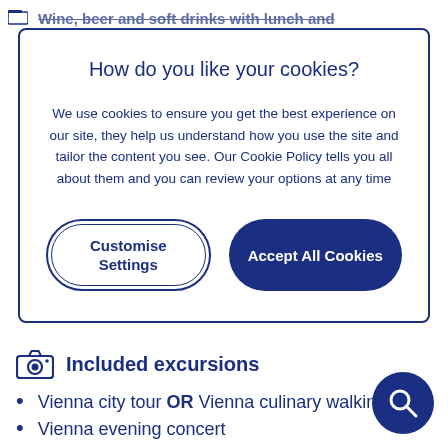Wine, beer and soft drinks with lunch and
How do you like your cookies?
We use cookies to ensure you get the best experience on our site, they help us understand how you use the site and tailor the content you see. Our Cookie Policy tells you all about them and you can review your options at any time
Customise Settings
Accept All Cookies
Included excursions
Vienna city tour OR Vienna culinary walking
Vienna evening concert